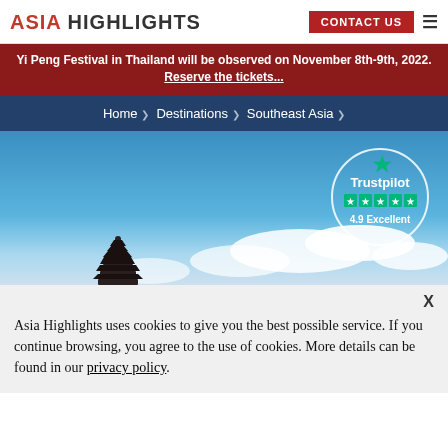ASIA HIGHLIGHTS | CONTACT US
Yi Peng Festival in Thailand will be observed on November 8th-9th, 2022. Reserve the tickets...
Home › Destinations › Southeast Asia ›
[Figure (photo): Hero image with blue sky background, clouds, and a dark pagoda silhouette on the left. A Trustpilot badge showing 4.9 Excellent rating is overlaid on the right side.]
Asia Highlights uses cookies to give you the best possible service. If you continue browsing, you agree to the use of cookies. More details can be found in our privacy policy.